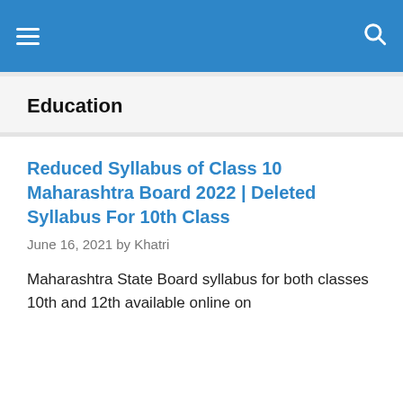Navigation bar with hamburger menu and search icon
Education
Reduced Syllabus of Class 10 Maharashtra Board 2022 | Deleted Syllabus For 10th Class
June 16, 2021 by Khatri
Maharashtra State Board syllabus for both classes 10th and 12th available online on